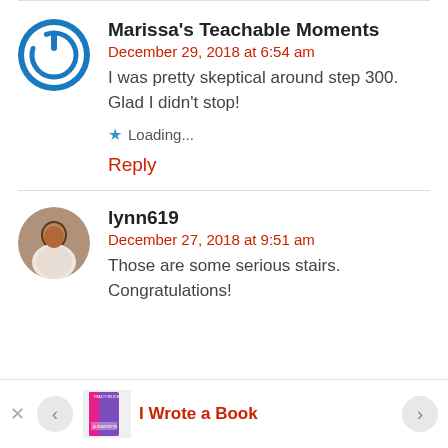Marissa's Teachable Moments
December 29, 2018 at 6:54 am
I was pretty skeptical around step 300. Glad I didn't stop!
★ Loading...
Reply
lynn619
December 27, 2018 at 9:51 am
Those are some serious stairs. Congratulations!
I Wrote a Book